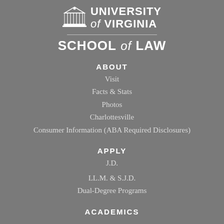[Figure (logo): University of Virginia logo with building icon and bold text reading UNIVERSITY of VIRGINIA, followed by a horizontal divider and SCHOOL of LAW]
ABOUT
Visit
Facts & Stats
Photos
Charlottesville
Consumer Information (ABA Required Disclosures)
APPLY
J.D.
LL.M. & S.J.D.
Dual-Degree Programs
ACADEMICS